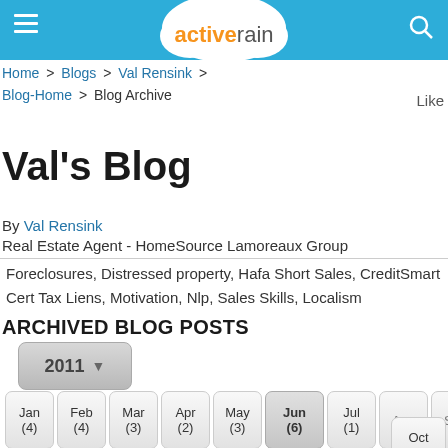activerain
Home > Blogs > Val Rensink > Blog-Home > Blog Archive
Val's Blog
By Val Rensink
Real Estate Agent - HomeSource Lamoreaux Group
Foreclosures, Distressed property, Hafa Short Sales, CreditSmart Cert Tax Liens, Motivation, Nlp, Sales Skills, Localism
ARCHIVED BLOG POSTS
2011
Jan (4) Feb (4) Mar (3) Apr (2) May (3) Jun (6) Jul (1) Aug Sep Oct (2) Nov Dec